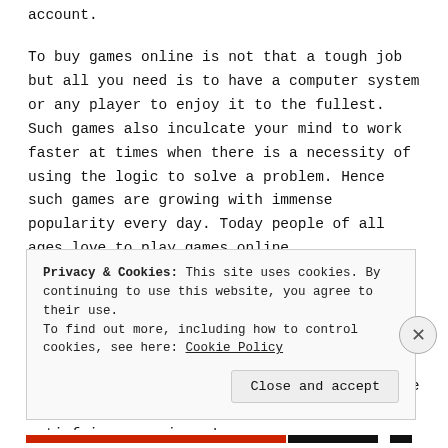account.
To buy games online is not that a tough job but all you need is to have a computer system or any player to enjoy it to the fullest. Such games also inculcate your mind to work faster at times when there is a necessity of using the logic to solve a problem. Hence such games are growing with immense popularity every day. Today people of all ages love to play games online.
If you want to get really exciting games to play, then Zatun Games will give you the complete experience. Viewing the demo versions will help you to download the games in the futures. Log on to Zatungames for more information. You are sure to have a satisfying experience!
Privacy & Cookies: This site uses cookies. By continuing to use this website, you agree to their use.
To find out more, including how to control cookies, see here: Cookie Policy